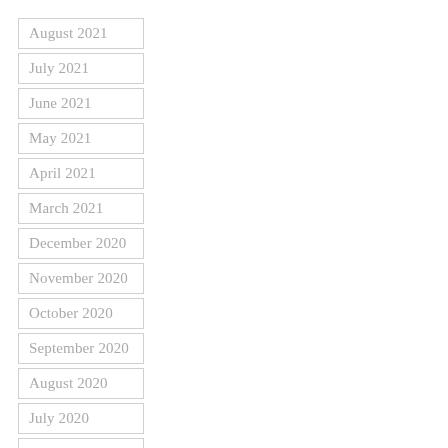August 2021
July 2021
June 2021
May 2021
April 2021
March 2021
December 2020
November 2020
October 2020
September 2020
August 2020
July 2020
June 2020
May 2020